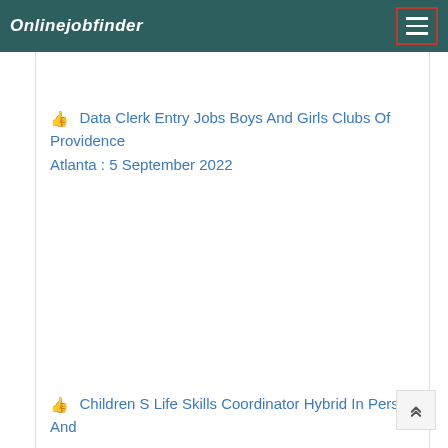Onlinejobfinder
Data Clerk Entry Jobs Boys And Girls Clubs Of Providence Atlanta : 5 September 2022
Children S Life Skills Coordinator Hybrid In Person And